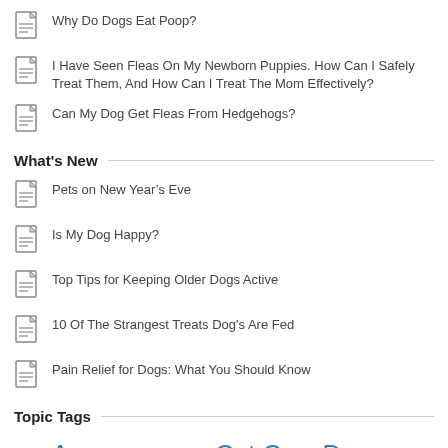Why Do Dogs Eat Poop?
I Have Seen Fleas On My Newborn Puppies. How Can I Safely Treat Them, And How Can I Treat The Mom Effectively?
Can My Dog Get Fleas From Hedgehogs?
What's New
Pets on New Year’s Eve
Is My Dog Happy?
Top Tips for Keeping Older Dogs Active
10 Of The Strangest Treats Dog's Are Fed
Pain Relief for Dogs: What You Should Know
Topic Tags
About Anyone Best Cat Cat Care Does Dog Flea